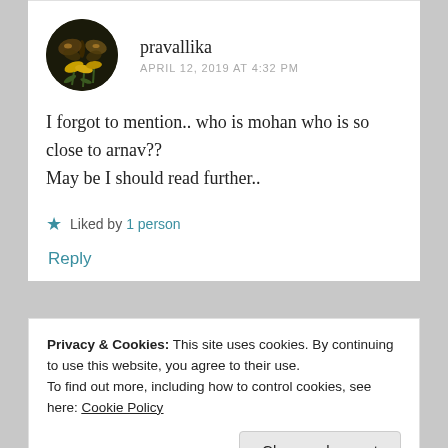[Figure (photo): Circular avatar photo of a butterfly on yellow flowers against a dark background]
pravallika
APRIL 12, 2019 AT 4:32 PM
I forgot to mention.. who is mohan who is so close to arnav??
May be I should read further..
★ Liked by 1 person
Reply
Privacy & Cookies: This site uses cookies. By continuing to use this website, you agree to their use.
To find out more, including how to control cookies, see here: Cookie Policy
Close and accept
Finally I'm here 🙂